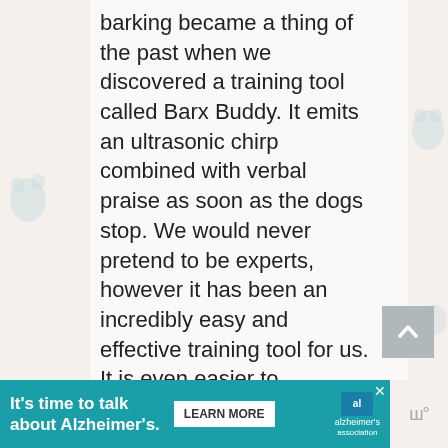barking became a thing of the past when we discovered a training tool called Barx Buddy. It emits an ultrasonic chirp combined with verbal praise as soon as the dogs stop. We would never pretend to be experts, however it has been an incredibly easy and effective training tool for us. It is even easier to
[Figure (other): Scroll-to-top button: grey square with upward-pointing chevron/caret icon]
[Figure (other): Advertisement banner: teal background with text 'It's time to talk about Alzheimer's.' and a LEARN MORE button and Alzheimer's Association logo, with close (X) button]